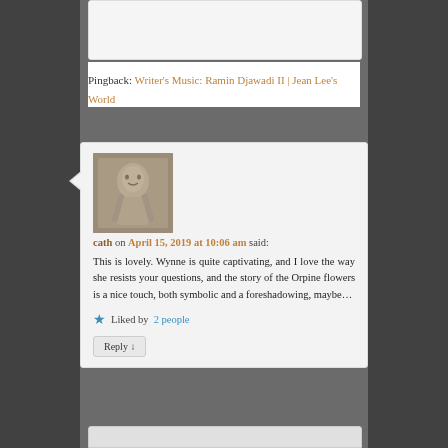Pingback: Writer’s Music: Ramin Djawadi II | Jean Lee’s World
[Figure (photo): Avatar photo of commenter 'cath', showing a stone/marble statue figure, square thumbnail]
cath on April 15, 2019 at 10:06 am said:
This is lovely. Wynne is quite captivating, and I love the way she resists your questions, and the story of the Orpine flowers is a nice touch, both symbolic and a foreshadowing, maybe...
Liked by 2 people
Reply ↓